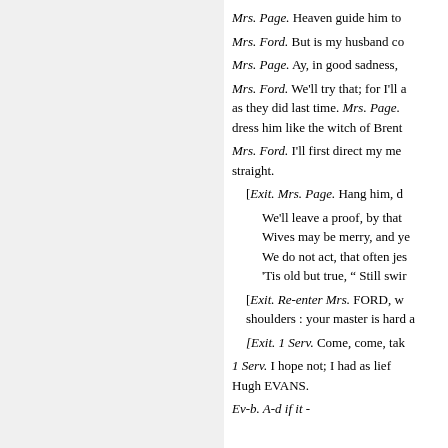Mrs. Page. Heaven guide him to
Mrs. Ford. But is my husband co
Mrs. Page. Ay, in good sadness,
Mrs. Ford. We'll try that; for I'll a as they did last time. Mrs. Page. dress him like the witch of Brent
Mrs. Ford. I'll first direct my me straight.
[Exit. Mrs. Page. Hang him, d
We'll leave a proof, by that Wives may be merry, and ye We do not act, that often jes 'Tis old but true, " Still swir
[Exit. Re-enter Mrs. FORD, w shoulders : your master is hard a
[Exit. 1 Serv. Come, come, tak
1 Serv. I hope not; I had as lief Hugh EVANS.
Ev-b. A-d if it -